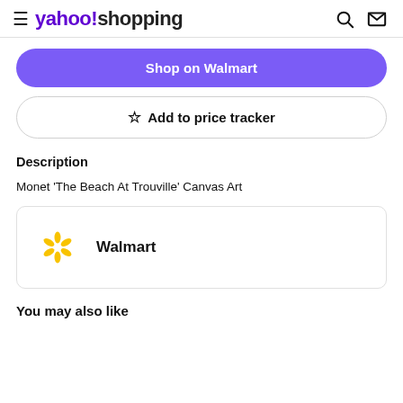yahoo!shopping
Shop on Walmart
☆ Add to price tracker
Description
Monet 'The Beach At Trouville' Canvas Art
[Figure (logo): Walmart spark logo with Walmart text]
You may also like